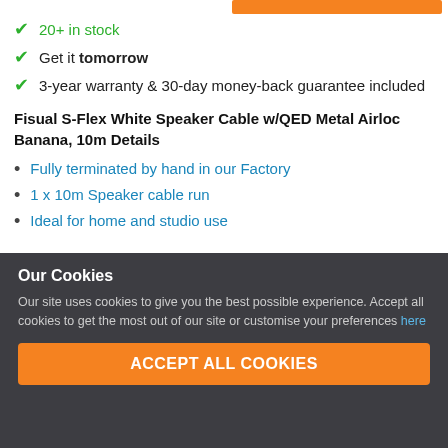20+ in stock
Get it tomorrow
3-year warranty & 30-day money-back guarantee included
Fisual S-Flex White Speaker Cable w/QED Metal Airloc Banana, 10m Details
Fully terminated by hand in our Factory
1 x 10m Speaker cable run
Ideal for home and studio use
Our Cookies
Our site uses cookies to give you the best possible experience. Accept all cookies to get the most out of our site or customise your preferences here
ACCEPT ALL COOKIES